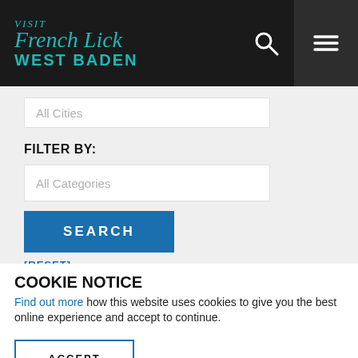[Figure (logo): Visit French Lick West Baden logo in teal on dark background]
All Cities
FILTER BY:
All Categories
SEARCH
[RESET]
COOKIE NOTICE
Find out more how this website uses cookies to give you the best online experience and accept to continue.
ACCEPT